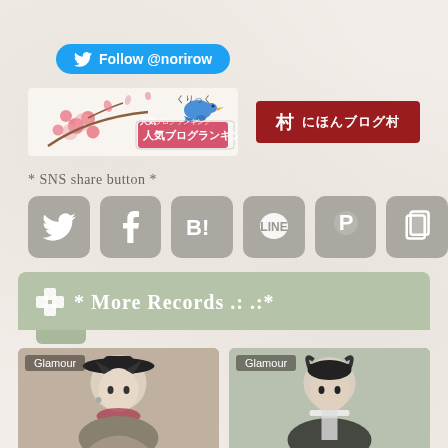[Figure (other): Twitter Follow button for @norirow]
[Figure (other): Ranking badge with cherry blossoms and blue bird, 人気ブログランキング, and red にほんブログ村 button]
* SNS share button *
[Figure (other): SNS share buttons: Twitter, Facebook, Hatena Bookmark, LINE, Pinterest, copy link]
🧩 * More Records .: .:*
[Figure (photo): Glamour card showing anime-style character with black hat and feathered accessories]
[Figure (photo): Glamour card showing anime-style character in dark coat]